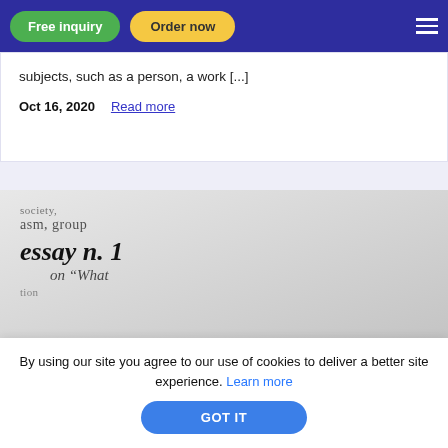Free inquiry | Order now
subjects, such as a person, a work [...]
Oct 16, 2020   Read more
[Figure (photo): Close-up of a dictionary page showing the word 'essay n. 1' in bold italic serif font, with surrounding partial words 'society', 'asm, group', 'on What']
By using our site you agree to our use of cookies to deliver a better site experience. Learn more
GOT IT